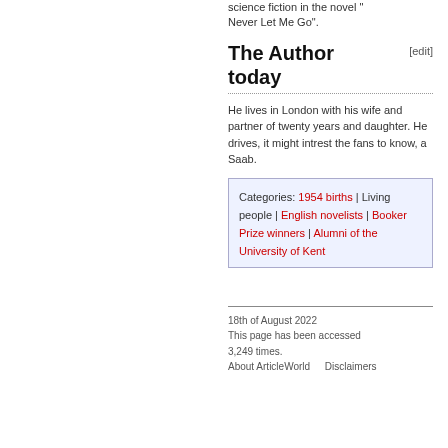science fiction in the novel "Never Let Me Go".
The Author today
He lives in London with his wife and partner of twenty years and daughter. He drives, it might intrest the fans to know, a Saab.
Categories: 1954 births | Living people | English novelists | Booker Prize winners | Alumni of the University of Kent
18th of August 2022
This page has been accessed 3,249 times.
About ArticleWorld   Disclaimers